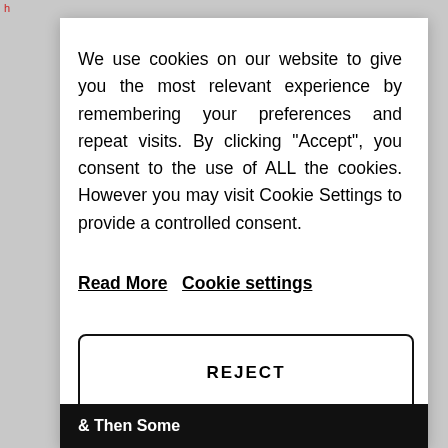h
We use cookies on our website to give you the most relevant experience by remembering your preferences and repeat visits. By clicking “Accept”, you consent to the use of ALL the cookies. However you may visit Cookie Settings to provide a controlled consent.
Read More   Cookie settings
REJECT
ACCEPT
& Then Some